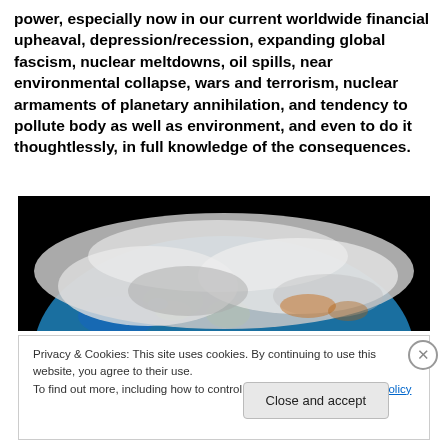power, especially now in our current worldwide financial upheaval, depression/recession, expanding global fascism, nuclear meltdowns, oil spills, near environmental collapse, wars and terrorism, nuclear armaments of planetary annihilation, and tendency to pollute body as well as environment, and even to do it thoughtlessly, in full knowledge of the consequences.
[Figure (photo): Satellite image of Earth from space showing the globe against a black background, with cloud formations and continents visible]
Privacy & Cookies: This site uses cookies. By continuing to use this website, you agree to their use.
To find out more, including how to control cookies, see here: Cookie Policy